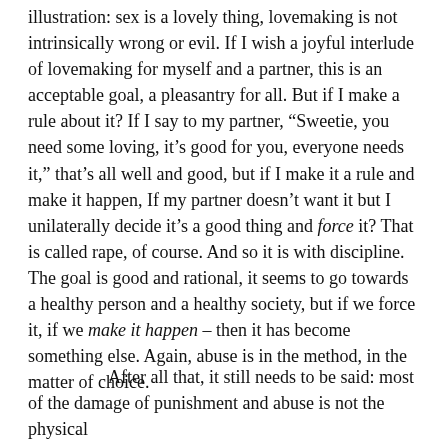illustration: sex is a lovely thing, lovemaking is not intrinsically wrong or evil. If I wish a joyful interlude of lovemaking for myself and a partner, this is an acceptable goal, a pleasantry for all. But if I make a rule about it? If I say to my partner, “Sweetie, you need some loving, it’s good for you, everyone needs it,” that’s all well and good, but if I make it a rule and make it happen, If my partner doesn’t want it but I unilaterally decide it’s a good thing and force it? That is called rape, of course. And so it is with discipline. The goal is good and rational, it seems to go towards a healthy person and a healthy society, but if we force it, if we make it happen – then it has become something else. Again, abuse is in the method, in the matter of choice.
After all that, it still needs to be said: most of the damage of punishment and abuse is not the physical